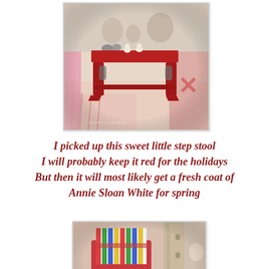[Figure (photo): A red painted wooden step stool with small ceramic figurines on top, surrounded by decorative items including a striped fabric and a pink bag, with a watermark reading 'Consider me Art Savvy']
I picked up this sweet little step stool
I will probably keep it red for the holidays
But then it will most likely get a fresh coat of
Annie Sloan White for spring
[Figure (photo): A close-up photo of a pink/red fabric bag with colorful striped fabric inside, and what appears to be a wooden furniture leg or spindle visible on the right side]